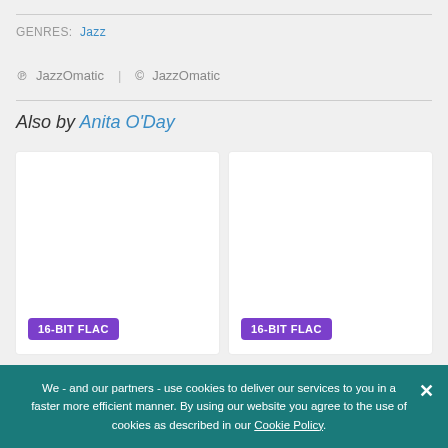GENRES: Jazz
℗ JazzOmatic | © JazzOmatic
Also by Anita O'Day
[Figure (other): Two album art placeholders, each with a '16-BIT FLAC' purple badge at the bottom left.]
We - and our partners - use cookies to deliver our services to you in a faster more efficient manner. By using our website you agree to the use of cookies as described in our Cookie Policy.